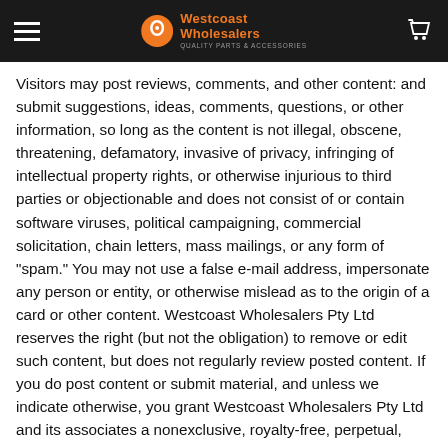Westcoast Wholesalers — Quality Parts & Accessories
Visitors may post reviews, comments, and other content: and submit suggestions, ideas, comments, questions, or other information, so long as the content is not illegal, obscene, threatening, defamatory, invasive of privacy, infringing of intellectual property rights, or otherwise injurious to third parties or objectionable and does not consist of or contain software viruses, political campaigning, commercial solicitation, chain letters, mass mailings, or any form of "spam." You may not use a false e-mail address, impersonate any person or entity, or otherwise mislead as to the origin of a card or other content. Westcoast Wholesalers Pty Ltd reserves the right (but not the obligation) to remove or edit such content, but does not regularly review posted content. If you do post content or submit material, and unless we indicate otherwise, you grant Westcoast Wholesalers Pty Ltd and its associates a nonexclusive, royalty-free, perpetual, irrevocable, and fully sub licensable right to use, reproduce, modify, adapt, publish, translate, create derivative works from, distribute, and display such content throughout the world in any media.Westcoast Wholesalers Pty Ltd has the right but not the obligation to monitor and edit or